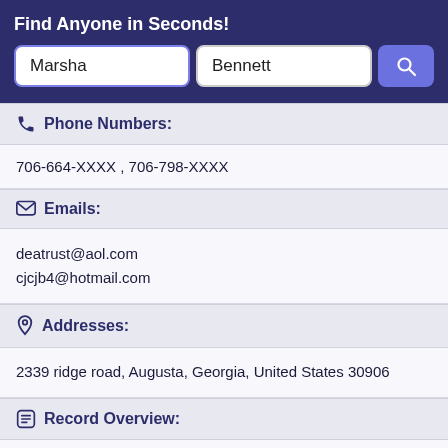Find Anyone in Seconds!
Marsha | Bennett
Phone Numbers:
706-664-XXXX , 706-798-XXXX
Emails:
deatrust@aol.com
cjcjb4@hotmail.com
Addresses:
2339 ridge road, Augusta, Georgia, United States 30906
Record Overview:
There are 1 Addresses for this record. 2 phone number records. Marsha Bennett has 2 other aliases. Emails have also been found for Marsha Bennett with a total amount of 2 email records. Marsha